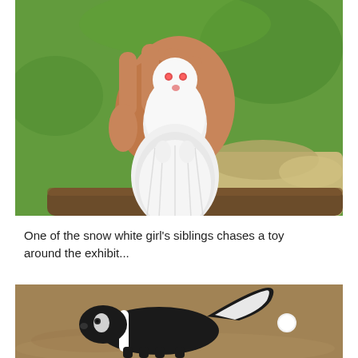[Figure (photo): A hand holding a small white albino baby skunk with a fluffy white tail, outdoors on grass with rocks and a log visible in the background.]
One of the snow white girl's siblings chases a toy around the exhibit...
[Figure (photo): A skunk with black and white markings walking on dirt ground, with a small white round object (toy) visible in the background.]